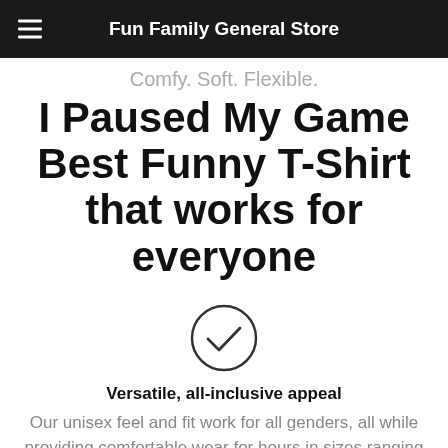Fun Family General Store
Comfy. Soft. Flexible.
I Paused My Game Best Funny T-Shirt that works for everyone
[Figure (illustration): A circle with a checkmark inside it]
Versatile, all-inclusive appeal
Our unisex feel and fit work for all genders, all while providing comfortable wear for hours in sizes ranging from S to 2XL.